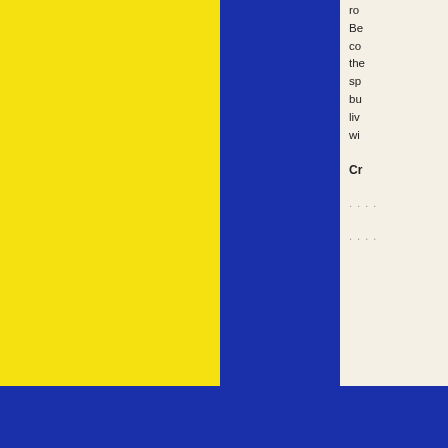[Figure (illustration): Large yellow rectangle on the left side and a large blue rectangle occupying the center, with a cream/off-white column on the right containing text fragments. A blue bar runs across the bottom of the page.]
ro Be co the sp bu liv wi
Cr
....
....